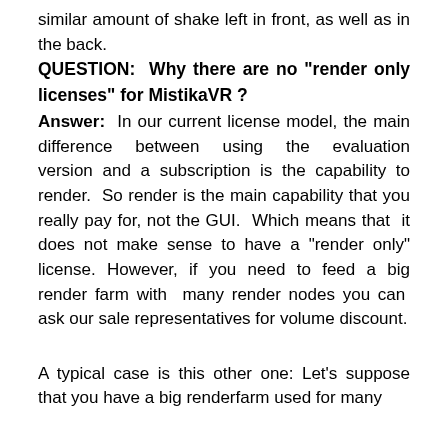similar amount of shake left in front, as well as in the back.
QUESTION: Why there are no "render only licenses" for MistikaVR ?
Answer: In our current license model, the main difference between using the evaluation version and a subscription is the capability to render. So render is the main capability that you really pay for, not the GUI. Which means that it does not make sense to have a "render only" license. However, if you need to feed a big render farm with many render nodes you can ask our sale representatives for volume discount.
A typical case is this other one: Let's suppose that you have a big renderfarm used for many